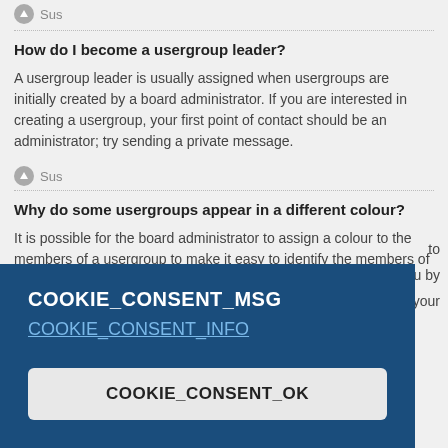Sus
How do I become a usergroup leader?
A usergroup leader is usually assigned when usergroups are initially created by a board administrator. If you are interested in creating a usergroup, your first point of contact should be an administrator; try sending a private message.
Sus
Why do some usergroups appear in a different colour?
It is possible for the board administrator to assign a colour to the members of a usergroup to make it easy to identify the members of this group.
Sus
COOKIE_CONSENT_MSG
COOKIE_CONSENT_INFO
COOKIE_CONSENT_OK